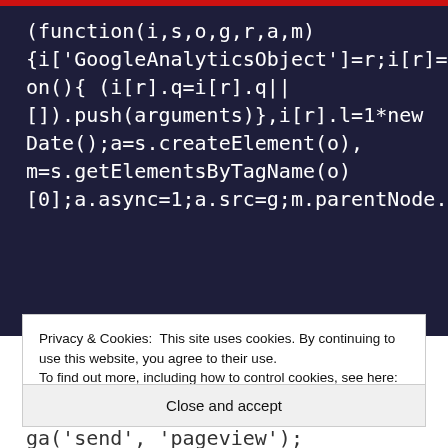[Figure (screenshot): Dark navy background with white monospace code showing a Google Analytics JavaScript snippet: (function(i,s,o,g,r,a,m) {i['GoogleAnalyticsObject']=r;i[r]=i[r]||function(){ (i[r].q=i[r].q|| []).push(arguments)},i[r].l=1*new Date();a=s.createElement(o), m=s.getElementsByTagName(o) [0];a.async=1;a.src=g;m.parentNode.insert]
Privacy & Cookies: This site uses cookies. By continuing to use this website, you agree to their use.
To find out more, including how to control cookies, see here: Cookie Policy
Close and accept
ga('send', 'pageview');